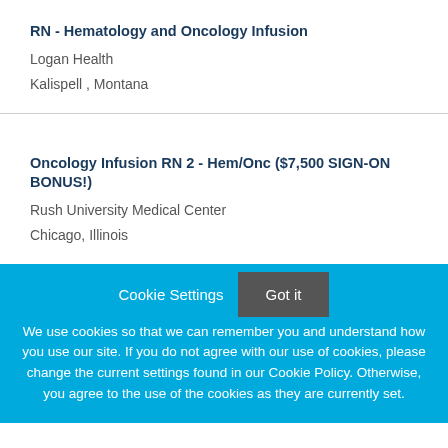RN - Hematology and Oncology Infusion
Logan Health
Kalispell , Montana
Oncology Infusion RN 2 - Hem/Onc ($7,500 SIGN-ON BONUS!)
Rush University Medical Center
Chicago, Illinois
Cookie Settings
Got it
We use cookies so that we can remember you and understand how you use our site. If you do not agree with our use of cookies, please change the current settings found in our Cookie Policy. Otherwise, you agree to the use of the cookies as they are currently set.